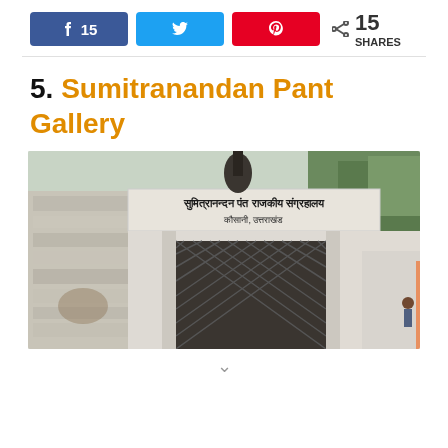[Figure (infographic): Social sharing buttons bar: Facebook (15 shares, blue), Twitter (blue), Pinterest (red), and share count showing 15 SHARES]
5. Sumitranandan Pant Gallery
[Figure (photo): Exterior photo of Sumitranandan Pant Gallery building entrance, showing white walls with Hindi signage reading 'Sumitranandan Pant Rajkiya Sangrahalaya, Kausani, Uttarakhand' and a metal gate, with trees in the background.]